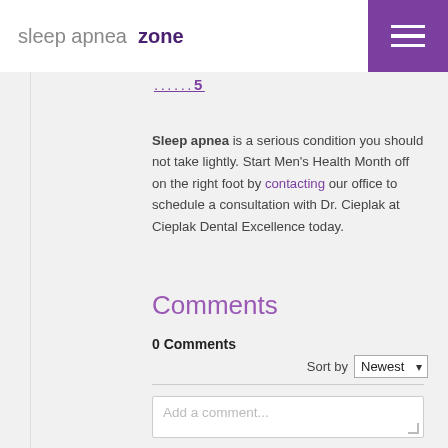sleep apnea zone
...5
Sleep apnea is a serious condition you should not take lightly. Start Men's Health Month off on the right foot by contacting our office to schedule a consultation with Dr. Cieplak at Cieplak Dental Excellence today.
Comments
0 Comments
Sort by Newest
Add a comment...